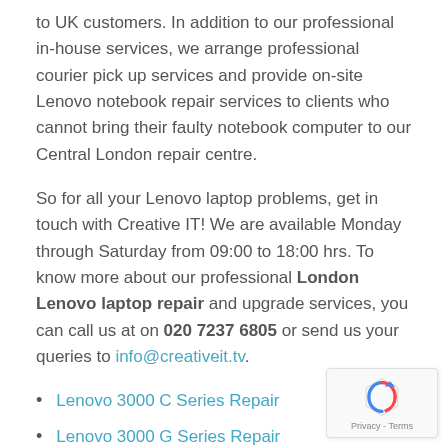to UK customers. In addition to our professional in-house services, we arrange professional courier pick up services and provide on-site Lenovo notebook repair services to clients who cannot bring their faulty notebook computer to our Central London repair centre.
So for all your Lenovo laptop problems, get in touch with Creative IT! We are available Monday through Saturday from 09:00 to 18:00 hrs. To know more about our professional London Lenovo laptop repair and upgrade services, you can call us at on 020 7237 6805 or send us your queries to info@creativeit.tv.
Lenovo 3000 C Series Repair
Lenovo 3000 G Series Repair
Lenovo 3000 N Series Repair
Lenovo 3000 V Series Repair
Lenovo 3000 Y Series Repair
Lenovo B Series Laptop Repair